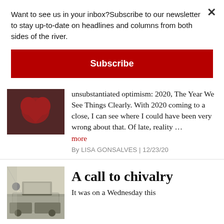Want to see us in your inbox?Subscribe to our newsletter to stay up-to-date on headlines and columns from both sides of the river.
Subscribe
unsubstantiated optimism: 2020, The Year We See Things Clearly. With 2020 coming to a close, I can see where I could have been very wrong about that. Of late, reality …
more
By LISA GONSALVES | 12/23/20
A call to chivalry
It was on a Wednesday this